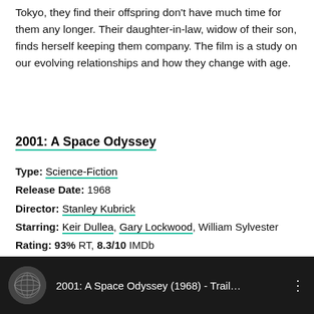Tokyo, they find their offspring don't have much time for them any longer. Their daughter-in-law, widow of their son, finds herself keeping them company. The film is a study on our evolving relationships and how they change with age.
2001: A Space Odyssey
Type: Science-Fiction
Release Date: 1968
Director: Stanley Kubrick
Starring: Keir Dullea, Gary Lockwood, William Sylvester
Rating: 93% RT, 8.3/10 IMDb
[Figure (screenshot): Dark video bar showing thumbnail and title: 2001: A Space Odyssey (1968) - Trail... with three-dot menu icon]